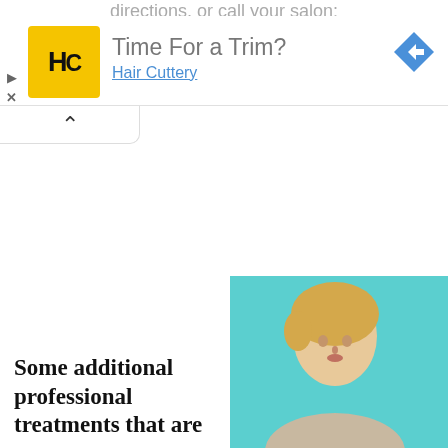directions, or call your salon:
[Figure (advertisement): Hair Cuttery advertisement banner with yellow HC logo, text 'Time For a Trim?' and 'Hair Cuttery', blue navigation arrow icon top right]
[Figure (illustration): Collapse/chevron-up bar UI element]
Some additional professional treatments that are
[Figure (photo): Photo of a blonde woman against a teal/turquoise background, cropped at shoulders]